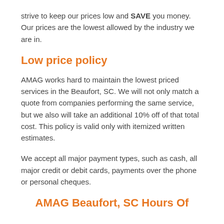strive to keep our prices low and SAVE you money. Our prices are the lowest allowed by the industry we are in.
Low price policy
AMAG works hard to maintain the lowest priced services in the Beaufort, SC. We will not only match a quote from companies performing the same service, but we also will take an additional 10% off of that total cost. This policy is valid only with itemized written estimates.
We accept all major payment types, such as cash, all major credit or debit cards, payments over the phone or personal cheques.
AMAG Beaufort, SC Hours Of